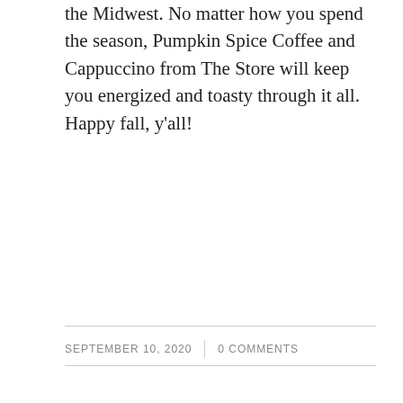the Midwest. No matter how you spend the season, Pumpkin Spice Coffee and Cappuccino from The Store will keep you energized and toasty through it all. Happy fall, y'all!
SEPTEMBER 10, 2020  |  0 COMMENTS
COMMUNITY
Three Ways to Safely Spread Positivity
Now that the Safer at Home Order has